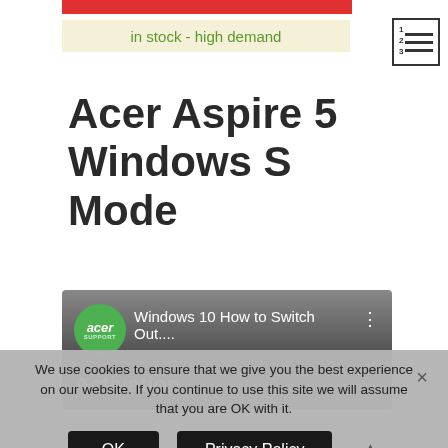in stock - high demand
Acer Aspire 5 Windows S Mode
[Figure (screenshot): Video thumbnail showing Acer Support logo and title 'Windows 10 How to Switch Out...', with text 'Activation' visible below]
We use cookies to ensure that we give you the best experience on our website. If you continue to use this site we will assume that you are OK with it.
OK
Privacy Policy